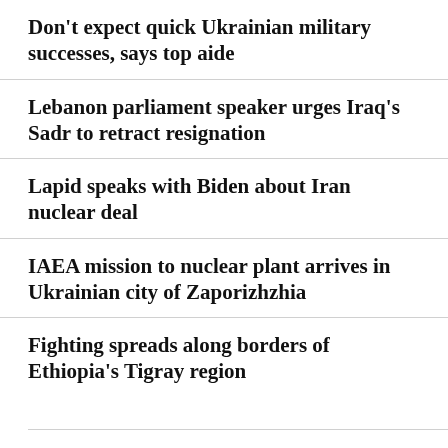Don't expect quick Ukrainian military successes, says top aide
Lebanon parliament speaker urges Iraq's Sadr to retract resignation
Lapid speaks with Biden about Iran nuclear deal
IAEA mission to nuclear plant arrives in Ukrainian city of Zaporizhzhia
Fighting spreads along borders of Ethiopia's Tigray region